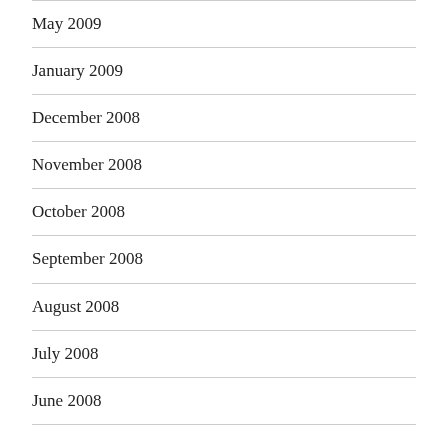May 2009
January 2009
December 2008
November 2008
October 2008
September 2008
August 2008
July 2008
June 2008
CATEGORIES